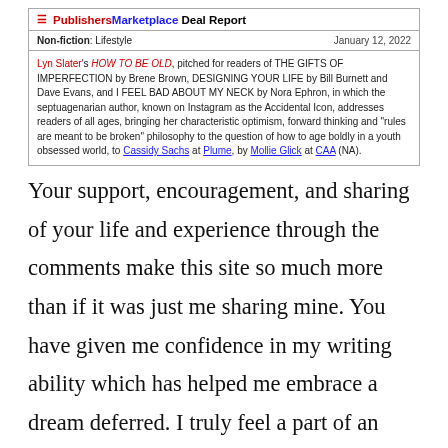[Figure (screenshot): Publishers Marketplace Deal Report box. Header: 'Publishers Marketplace Deal Report' with red icon. Meta row: 'Non-fiction: Lifestyle' and 'January 12, 2022'. Body text describes Lyn Slater's HOW TO BE OLD deal with Cassidy Sachs at Plume, by Mollie Glick at CAA (NA).]
Your support, encouragement, and sharing of your life and experience through the comments make this site so much more than if it was just me sharing mine. You have given me confidence in my writing ability which has helped me embrace a dream deferred. I truly feel a part of an incredible community and for that, I am deeply grateful.